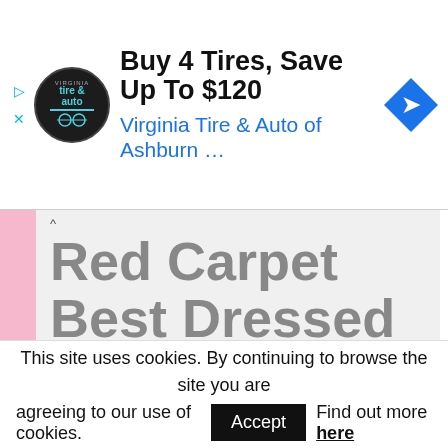[Figure (screenshot): Advertisement banner: circular Virginia Tire & Auto logo, headline 'Buy 4 Tires, Save Up To $120', subline 'Virginia Tire & Auto of Ashburn …', blue navigation arrow icon on right, small ad arrows on left]
Red Carpet Best Dressed Women
Golden Globes 2016 red carpet didn't disappoint me. There were so many amazing dresses, hairstyles and exquisite jewellery, that it will inspire stylists and bloggers to work harder and write about it for few months no less. And although none of my celebrity dress predictions came true (there is still hope for Oscars!), I
This site uses cookies. By continuing to browse the site you are agreeing to our use of cookies.  Find out more here